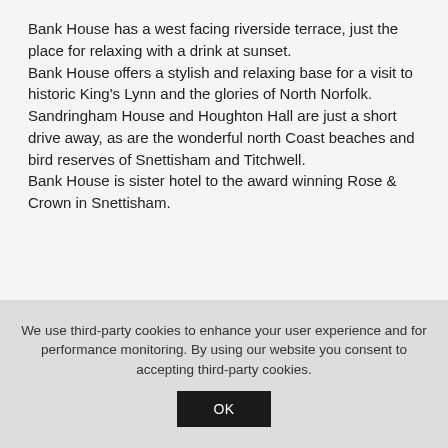Bank House has a west facing riverside terrace, just the place for relaxing with a drink at sunset.
Bank House offers a stylish and relaxing base for a visit to historic King's Lynn and the glories of North Norfolk. Sandringham House and Houghton Hall are just a short drive away, as are the wonderful north Coast beaches and bird reserves of Snettisham and Titchwell.
Bank House is sister hotel to the award winning Rose & Crown in Snettisham.
We use third-party cookies to enhance your user experience and for performance monitoring. By using our website you consent to accepting third-party cookies.